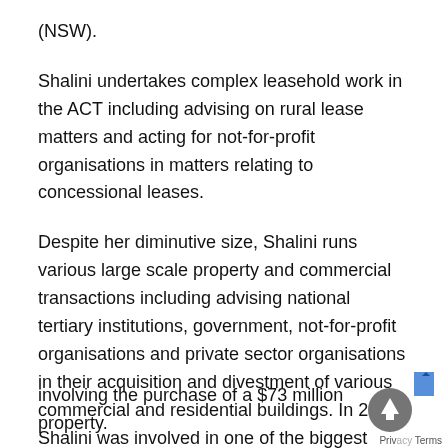(NSW).
Shalini undertakes complex leasehold work in the ACT including advising on rural lease matters and acting for not-for-profit organisations in matters relating to concessional leases.
Despite her diminutive size, Shalini runs various large scale property and commercial transactions including advising national tertiary institutions, government, not-for-profit organisations and private sector organisations in their acquisition and divestment of various commercial and residential buildings. In 2016, Shalini was involved in one of the biggest property transactions in the ACT for t… involving the purchase of a $73 million property.